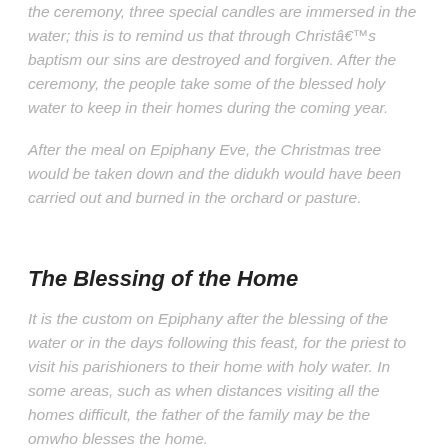the ceremony, three special candles are immersed in the water; this is to remind us that through Christâ€™s baptism our sins are destroyed and forgiven. After the ceremony, the people take some of the blessed holy water to keep in their homes during the coming year.
After the meal on Epiphany Eve, the Christmas tree would be taken down and the didukh would have been carried out and burned in the orchard or pasture.
The Blessing of the Home
It is the custom on Epiphany after the blessing of the water or in the days following this feast, for the priest to visit his parishioners to their home with holy water. In some areas, such as when distances visiting all the homes difficult, the father of the family may be the omwho blesses the home.